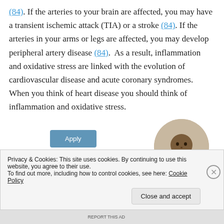(84). If the arteries to your brain are affected, you may have a transient ischemic attack (TIA) or a stroke (84). If the arteries in your arms or legs are affected, you may develop peripheral artery disease (84).  As a result, inflammation and oxidative stress are linked with the evolution of cardiovascular disease and acute coronary syndromes.  When you think of heart disease you should think of inflammation and oxidative stress.
[Figure (photo): A man sitting at a desk, thinking with his hand on his chin, shown in a circular crop]
Privacy & Cookies: This site uses cookies. By continuing to use this website, you agree to their use.
To find out more, including how to control cookies, see here: Cookie Policy
Close and accept